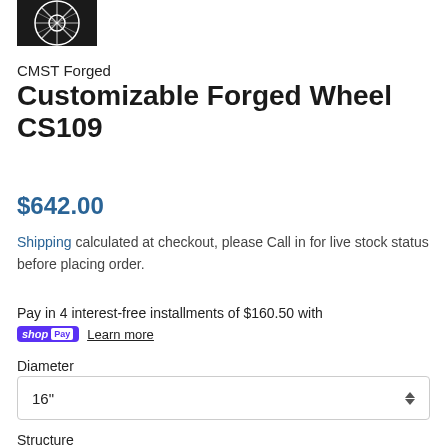[Figure (photo): Close-up photo of a black and white forged wheel design, CS109, showing spokes against dark background]
CMST Forged
Customizable Forged Wheel CS109
$642.00
Shipping calculated at checkout, please Call in for live stock status before placing order.
Pay in 4 interest-free installments of $160.50 with
shop Pay  Learn more
Diameter
16"
Structure